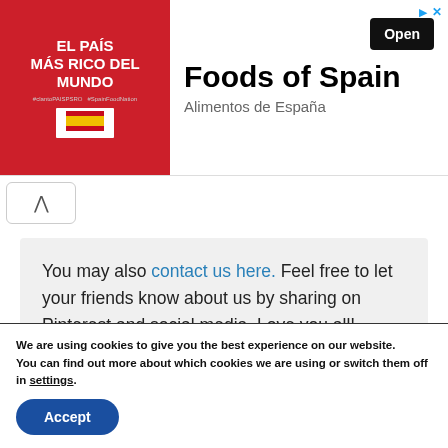[Figure (advertisement): Ad banner for 'Foods of Spain / Alimentos de España' featuring a red background with Spanish text 'El País Más Rico del Mundo' on the left, and 'Foods of Spain' title with an 'Open' button on the right.]
You may also contact us here. Feel free to let your friends know about us by sharing on Pinterest and social media. Love you all!
We are using cookies to give you the best experience on our website.
You can find out more about which cookies we are using or switch them off in settings.
Accept